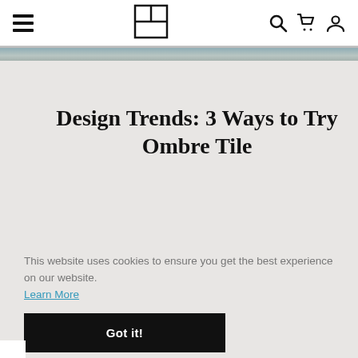Navigation bar with hamburger menu, logo, search, cart, and account icons
Design Trends: 3 Ways to Try Ombre Tile
This website uses cookies to ensure you get the best experience on our website. Learn More
Got it!